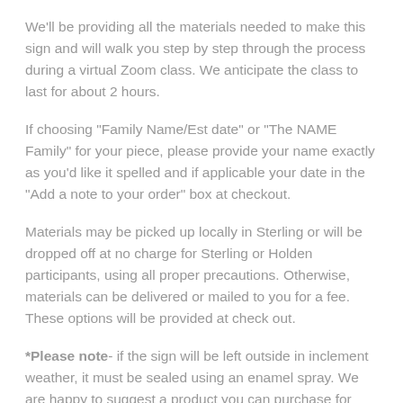We'll be providing all the materials needed to make this sign and will walk you step by step through the process during a virtual Zoom class. We anticipate the class to last for about 2 hours.
If choosing "Family Name/Est date" or "The NAME Family" for your piece, please provide your name exactly as you'd like it spelled and if applicable your date in the "Add a note to your order" box at checkout.
Materials may be picked up locally in Sterling or will be dropped off at no charge for Sterling or Holden participants, using all proper precautions. Otherwise, materials can be delivered or mailed to you for a fee. These options will be provided at check out.
*Please note- if the sign will be left outside in inclement weather, it must be sealed using an enamel spray. We are happy to suggest a product you can purchase for about $4.00 to seal.